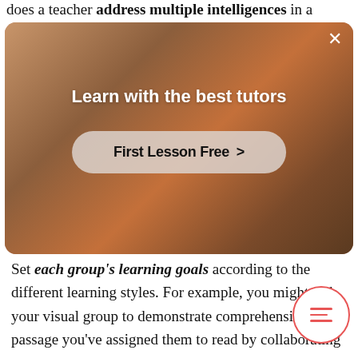does a teacher address multiple intelligences in a
[Figure (screenshot): Advertisement overlay showing a tutor in a classroom with text 'Learn with the best tutors' and a 'First Lesson Free >' button, with a close (×) button in the top right corner.]
Set each group's learning goals according to the different learning styles. For example, you might task your visual group to demonstrate comprehension of a passage you've assigned them to read by collaborating on a report.

Your auditory group might deliver their report to the rest of the class as a form of presentation and kinesthetics would build a model representing